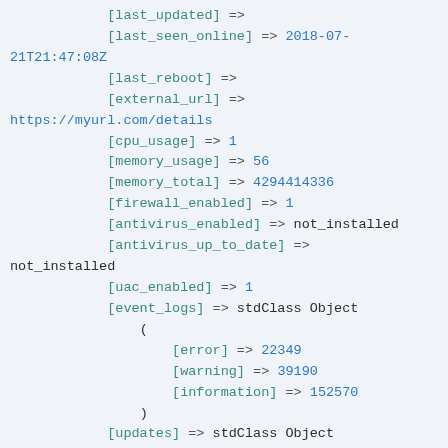[last_updated] =>
            [last_seen_online] => 2018-07-21T21:47:08Z
            [last_reboot] =>
            [external_url] =>
https://myurl.com/details
            [cpu_usage] => 1
            [memory_usage] => 56
            [memory_total] => 4294414336
            [firewall_enabled] => 1
            [antivirus_enabled] => not_installed
            [antivirus_up_to_date] =>
not_installed
            [uac_enabled] => 1
            [event_logs] => stdClass Object
                (
                    [error] => 22349
                    [warning] => 39190
                    [information] => 152570
                )
            [updates] => stdClass Object
                (